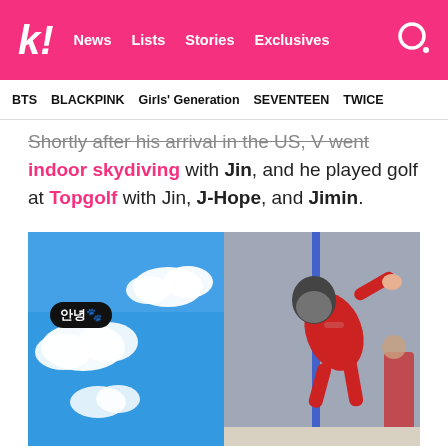k! News Lists Stories Exclusives
BTS   BLACKPINK   Girls' Generation   SEVENTEEN   TWICE
Shortly after his arrival in the US, V went indoor skydiving with Jin, and he played golf at Topgolf with Jin, J-Hope, and Jimin.
[Figure (photo): Left: Blue sky with white clouds and Korean text bubble saying 안녕. Right: Person in red jumpsuit and helmet doing indoor skydiving in a wind tunnel.]